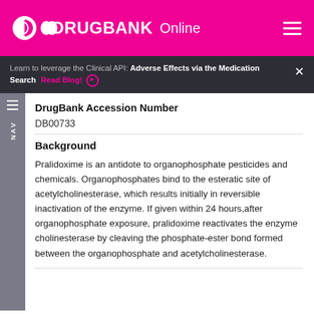DrugBank Online
Learn to leverage the Clinical API: Adverse Effects via the Medication Search  Read Blog!
DrugBank Accession Number
DB00733
Background
Pralidoxime is an antidote to organophosphate pesticides and chemicals. Organophosphates bind to the esteratic site of acetylcholinesterase, which results initially in reversible inactivation of the enzyme. If given within 24 hours,after organophosphate exposure, pralidoxime reactivates the enzyme cholinesterase by cleaving the phosphate-ester bond formed between the organophosphate and acetylcholinesterase.